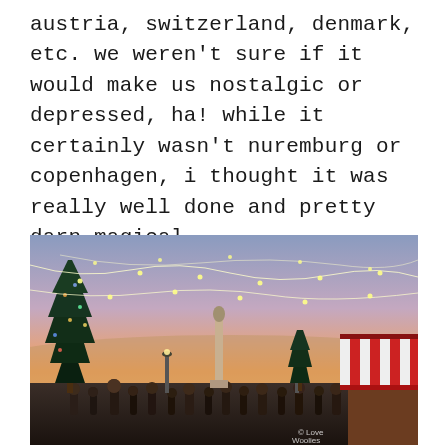austria, switzerland, denmark, etc. we weren't sure if it would make us nostalgic or depressed, ha! while it certainly wasn't nuremburg or copenhagen, i thought it was really well done and pretty darn magical.
[Figure (photo): Outdoor Christmas market at sunset/dusk. String lights hang overhead across the venue. A large decorated Christmas tree is visible on the left. A monument or statue is centered in the background against a warm orange-pink sky. Crowds of people walk through the market. On the right, a red-and-white striped awning of a vendor stall is visible. A small watermark reads 'Love Woolies' in the bottom right corner.]